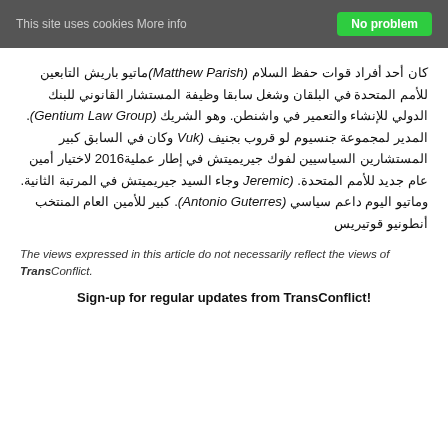This site uses cookies More info | No problem
ماتيو باريش (Matthew Parish) كان أحد أفراد قوات حفظ السلام التابعين للأمم المتحدة في البلقان وشغل سابقا وظيفة المستشار القانوني للبنك الدولي للإنشاء والتعمير في واشنطن. وهو الشريك (Gentium Law Group). المدير لمجموعة جنسيوم لو قروب بجنيف (Vuk وكان في السابق كبير المستشارين السياسيين لفوك جيريميتش في إطار عملية 2016 لاختيار أمين عام جديد للأمم المتحدة. (Jeremic وجاء السيد جيريميتش في المرتبة الثانية. وماتيو اليوم داعم سياسي (Antonio Guterres). كبير للأمين العام المنتخب أنطونيو قوتيريس
The views expressed in this article do not necessarily reflect the views of TransConflict.
Sign-up for regular updates from TransConflict!